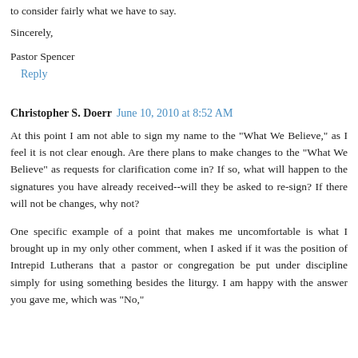to consider fairly what we have to say.
Sincerely,
Pastor Spencer
Reply
Christopher S. Doerr  June 10, 2010 at 8:52 AM
At this point I am not able to sign my name to the "What We Believe," as I feel it is not clear enough. Are there plans to make changes to the "What We Believe" as requests for clarification come in? If so, what will happen to the signatures you have already received--will they be asked to re-sign? If there will not be changes, why not?
One specific example of a point that makes me uncomfortable is what I brought up in my only other comment, when I asked if it was the position of Intrepid Lutherans that a pastor or congregation be put under discipline simply for using something besides the liturgy. I am happy with the answer you gave me, which was "No,"